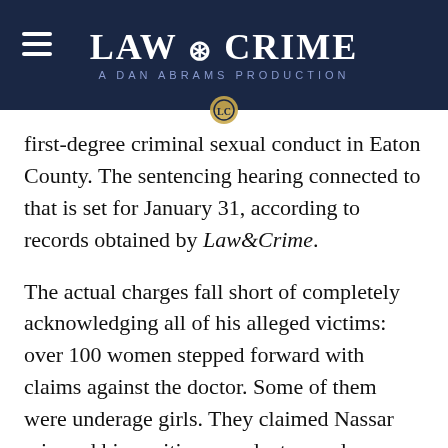LAW & CRIME — A DAN ABRAMS PRODUCTION
first-degree criminal sexual conduct in Eaton County. The sentencing hearing connected to that is set for January 31, according to records obtained by Law&Crime.
The actual charges fall short of completely acknowledging all of his alleged victims: over 100 women stepped forward with claims against the doctor. Some of them were underage girls. They claimed Nassar misused his position as a doctor, and sexually assaulted them during what were supposed to be medical procedures.